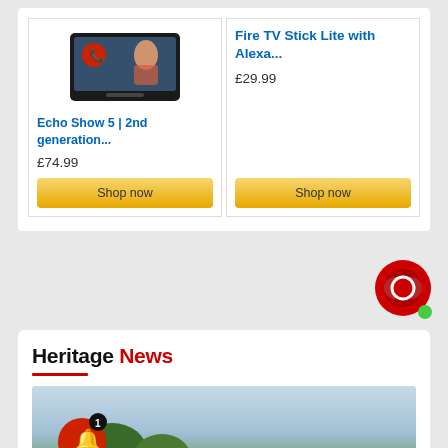[Figure (screenshot): Amazon product card showing Echo Show 5 2nd generation smart display device, priced at £74.99 with Shop now button]
Echo Show 5 | 2nd generation...
£74.99
Shop now
Fire TV Stick Lite with Alexa...
£29.99
Shop now
[Figure (screenshot): Red chat bubble icon with green online indicator dot]
Heritage News
[Figure (photo): Outdoor nature scene with trees and sky, partially visible. Red notification bell icon with badge number 1 overlaid in bottom left.]